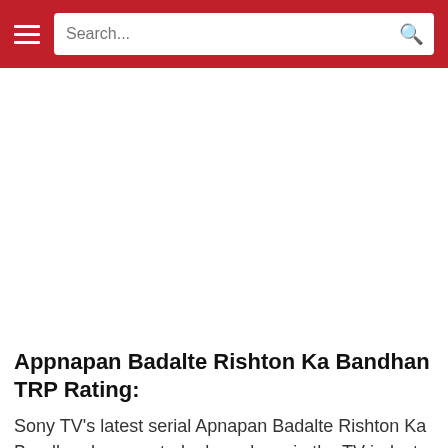Search...
[Figure (other): Advertisement / blank white space placeholder area]
Appnapan Badalte Rishton Ka Bandhan TRP Rating:
Sony TV's latest serial Apnapan Badalte Rishton Ka Bandhan has created a huge buzz in the TV industry as it is launched under the banner of Balaji Telefilms